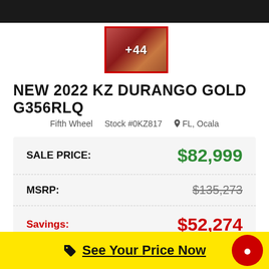[Figure (photo): Dark top banner showing partial vehicle image]
[Figure (photo): Thumbnail image of RV interior with red overlay showing '+44' additional photos indicator]
NEW 2022 KZ DURANGO GOLD G356RLQ
Fifth Wheel   Stock #0KZ817   FL, Ocala
| SALE PRICE: | $82,999 |
| MSRP: | $135,273 |
| Savings: | $52,274 |
See Your Price Now